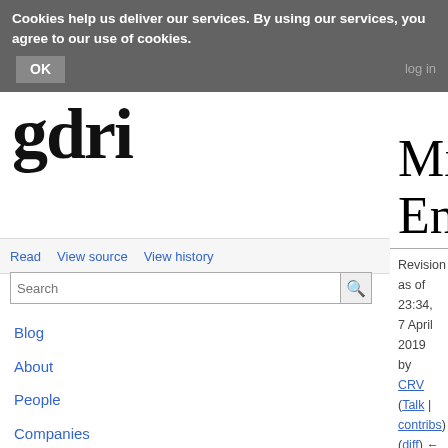Cookies help us deliver our services. By using our services, you agree to our use of cookies. OK
Page | Discussion
[Figure (logo): gdri logo in large serif bold black text]
Read | View source | View history
Minakuchi Engineering
Revision as of 23:34, 7 April 2019 by CRV (Talk | contribs)
(diff) ← Older revision | Latest revision (diff) | Newer revision → (diff)
Blog
About
People
Companies
Interviews
Contact
Legal
Tools
What links here
Related changes
Minakuchi Engineering Co., Ltd. (水口エンジニアリング) was established in May 1984 and worked on about 40 titles. It was named after the town in which it was based, Minakuchi, Shiga [1], which merged with several other towns in 2004 to form the city of Koka. [2]
Research Methods: Online resources